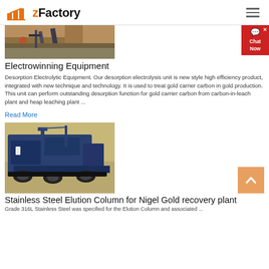zFactory
[Figure (photo): Overhead view of mining/conveyor equipment at a quarry or mining site, brown earthen ground with blue conveyor belt structure.]
Electrowinning Equipment
Desorption Electrolytic Equipment. Our desorption electrolysis unit is new style high efficiency product, integrated with new technique and technology. It is used to treat gold carrier carbon in gold production. This unit can perform outstanding desorption function for gold carrier carbon from carbon-in-leach plant and heap leaching plant ...
Read More
[Figure (photo): Large blue tracked industrial mining/crushing machine on a gravel/dirt surface.]
Stainless Steel Elution Column for Nigel Gold recovery plant
Grade 316L Stainless Steel was specified for the Elution Column and associated ...